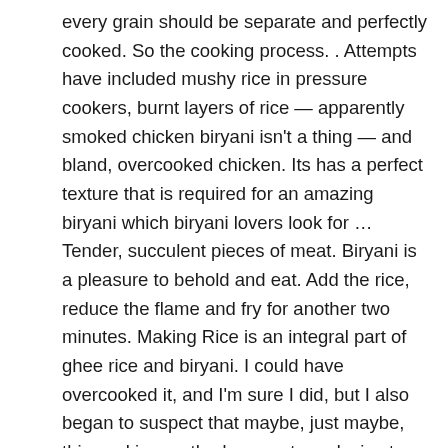every grain should be separate and perfectly cooked. So the cooking process. . Attempts have included mushy rice in pressure cookers, burnt layers of rice — apparently smoked chicken biryani isn't a thing — and bland, overcooked chicken. Its has a perfect texture that is required for an amazing biryani which biryani lovers look for … Tender, succulent pieces of meat. Biryani is a pleasure to behold and eat. Add the rice, reduce the flame and fry for another two minutes. Making Rice is an integral part of ghee rice and biryani. I could have overcooked it, and I'm sure I did, but I also began to suspect that maybe, just maybe, this cooking method was not conducive to tender, fluffy, perfectly cooked rice. Overcooked rice (and under cooked meat) is a result of too low a heat. Prepare the rice * see notes for alternate method. The most common and loved form is Chicken Biryani. Written By Nikita Roy 2363520 reads Mumbai Updated: May 28, 2020 11:18 am Here are some tips